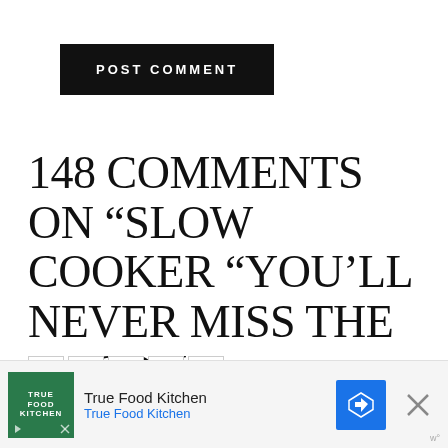[Figure (other): POST COMMENT button — black rectangle with white uppercase bold text]
148 COMMENTS ON “SLOW COOKER “YOU’LL NEVER MISS THE BACON” VEGETARIAN BOSTON BAKED BEANS”
«  1  2  3  »
[Figure (other): Advertisement banner for True Food Kitchen showing logo, name, navigation arrow icon, close X button, and wp° attribution]